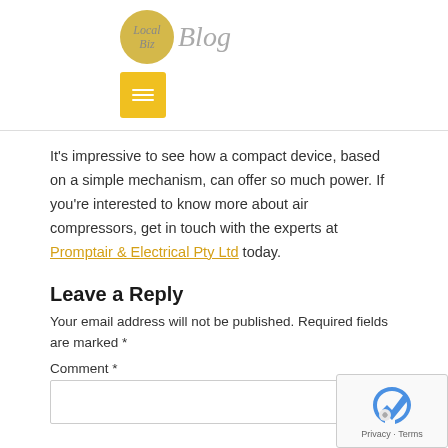Local Biz Blog
[Figure (logo): Yellow square hamburger menu icon with three white horizontal lines]
It's impressive to see how a compact device, based on a simple mechanism, can offer so much power. If you're interested to know more about air compressors, get in touch with the experts at Promptair & Electrical Pty Ltd today.
Leave a Reply
Your email address will not be published. Required fields are marked *
Comment *
[Figure (other): reCAPTCHA badge with Privacy - Terms text]